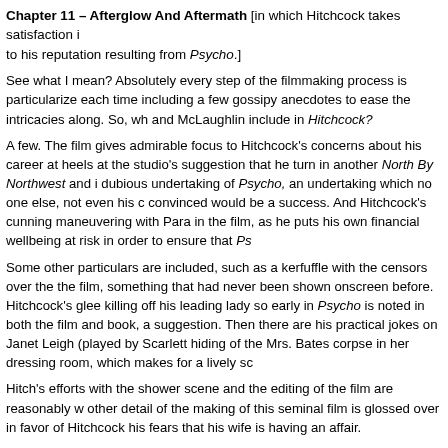Chapter 11 – Afterglow And Aftermath [in which Hitchcock takes satisfaction in... to his reputation resulting from Psycho.]
See what I mean? Absolutely every step of the filmmaking process is particularized each time including a few gossipy anecdotes to ease the intricacies along. So, wh... and McLaughlin include in Hitchcock?
A few. The film gives admirable focus to Hitchcock's concerns about his career at heels at the studio's suggestion that he turn in another North By Northwest and i... dubious undertaking of Psycho, an undertaking which no one else, not even his c... convinced would be a success. And Hitchcock's cunning maneuvering with Para... in the film, as he puts his own financial wellbeing at risk in order to ensure that Ps...
Some other particulars are included, such as a kerfuffle with the censors over th... the film, something that had never been shown onscreen before. Hitchcock's gle... killing off his leading lady so early in Psycho is noted in both the film and book, a... suggestion. Then there are his practical jokes on Janet Leigh (played by Scarlett... hiding of the Mrs. Bates corpse in her dressing room, which makes for a lively sc...
Hitch's efforts with the shower scene and the editing of the film are reasonably w... other detail of the making of this seminal film is glossed over in favor of Hitchcoc... his fears that his wife is having an affair.
Some of the escalated scandal in the film is clever and subtle, taking a grain of tr... lurid shine to it. For instance, a brief throwaway line in the book…
Hitchcock and Stefano held five weeks of daily story conferences at Pa...